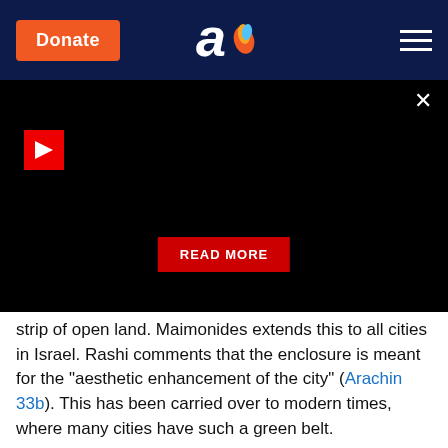Donate | [logo] | [menu]
[Figure (screenshot): Black video player area with red play button, close X button, and red READ MORE button]
strip of open land. Maimonides extends this to all cities in Israel. Rashi comments that the enclosure is meant for the "aesthetic enhancement of the city" (Arachin 33b). This has been carried over to modern times, where many cities have such a green belt.
Injurious industrial operations must be
Regarding air pollution, the Talmud tells us: "A permanent